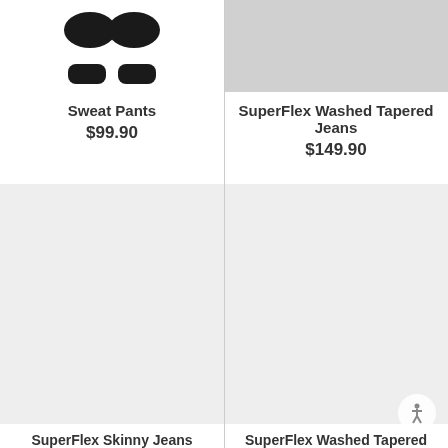[Figure (photo): Sweat Pants product image (partially visible, dark colored pants on white background)]
Sweat Pants
$99.90
[Figure (photo): SuperFlex Washed Tapered Jeans product image (gray placeholder)]
SuperFlex Washed Tapered Jeans
$149.90
[Figure (photo): SuperFlex Skinny Jeans product image (light gray placeholder)]
[Figure (photo): SuperFlex Washed Tapered product image (light gray placeholder) with accessibility icon]
SuperFlex Skinny Jeans
SuperFlex Washed Tapered